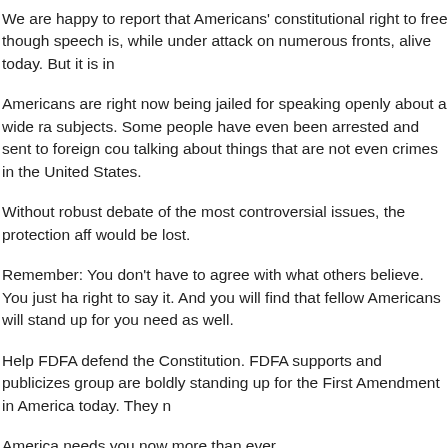We are happy to report that Americans' constitutional right to free thought and speech is, while under attack on numerous fronts, alive today. But it is in...
Americans are right now being jailed for speaking openly about a wide range of subjects. Some people have even been arrested and sent to foreign countries for talking about things that are not even crimes in the United States.
Without robust debate of the most controversial issues, the protection afforded would be lost.
Remember: You don't have to agree with what others believe. You just have the right to say it. And you will find that fellow Americans will stand up for your need as well.
Help FDFA defend the Constitution. FDFA supports and publicizes groups who are boldly standing up for the First Amendment in America today. They n...
America needs you now more than ever.